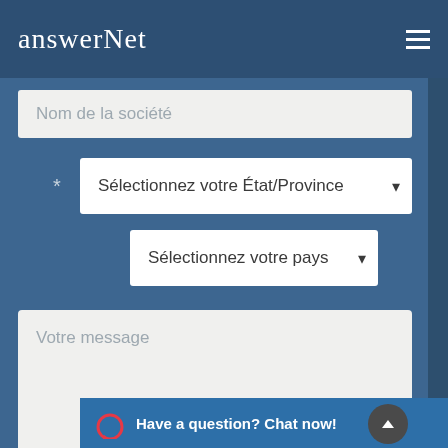[Figure (logo): AnswerNet logo — white serif text on dark blue header bar]
Nom de la société
Sélectionnez votre État/Province
Sélectionnez votre pays
Votre message
Have a question? Chat now!